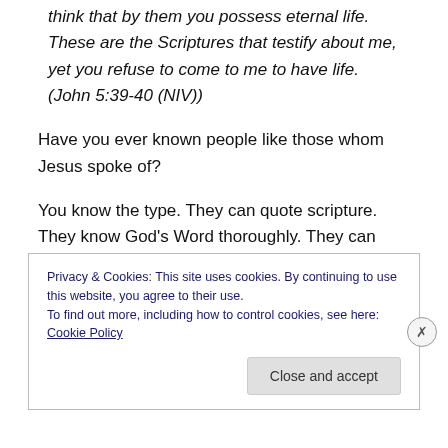think that by them you possess eternal life. These are the Scriptures that testify about me, yet you refuse to come to me to have life. (John 5:39-40 (NIV))
Have you ever known people like those whom Jesus spoke of?
You know the type. They can quote scripture. They know God’s Word thoroughly. They can argue any passage for they know the letter of the Law. They take pride in their knowledge, yet they fail to see that the letter of the Law is
Privacy & Cookies: This site uses cookies. By continuing to use this website, you agree to their use.
To find out more, including how to control cookies, see here: Cookie Policy
Close and accept